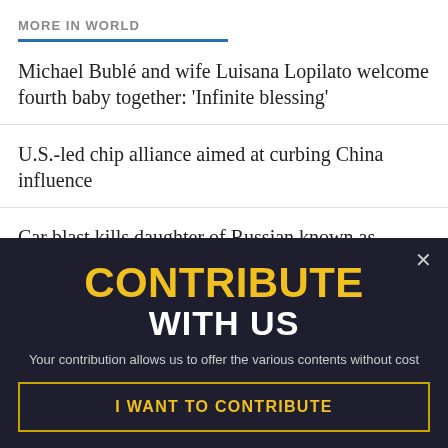MORE IN WORLD
Michael Bublé and wife Luisana Lopilato welcome fourth baby together: 'Infinite blessing'
U.S.-led chip alliance aimed at curbing China influence
Car blast kills daughter of Russian known as 'Putin's…
CONTRIBUTE WITH US
Your contribution allows us to offer the various contents without cost
I WANT TO CONTRIBUTE